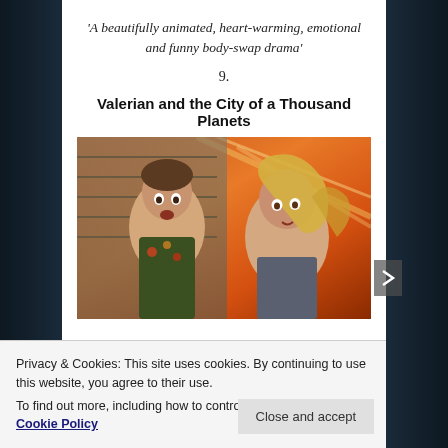'A beautifully animated, heart-warming, emotional and funny body-swap drama'
9.
Valerian and the City of a Thousand Planets
[Figure (photo): Movie still from Valerian and the City of a Thousand Planets showing two young actors looking alarmed, with an orange/red dramatic sky background]
Privacy & Cookies: This site uses cookies. By continuing to use this website, you agree to their use.
To find out more, including how to control cookies, see here: Cookie Policy
Close and accept